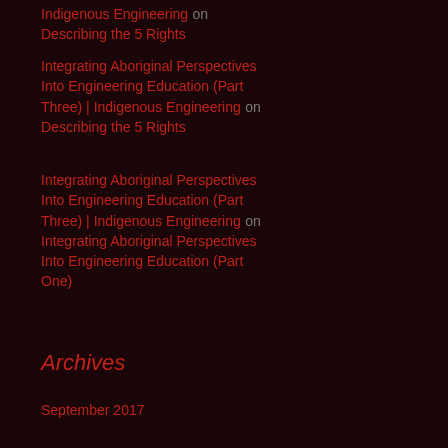Indigenous Engineering on Describing the 5 Rights
Integrating Aboriginal Perspectives Into Engineering Education (Part Three) | Indigenous Engineering on Describing the 5 Rights
Integrating Aboriginal Perspectives Into Engineering Education (Part Three) | Indigenous Engineering on Integrating Aboriginal Perspectives Into Engineering Education (Part One)
Archives
September 2017